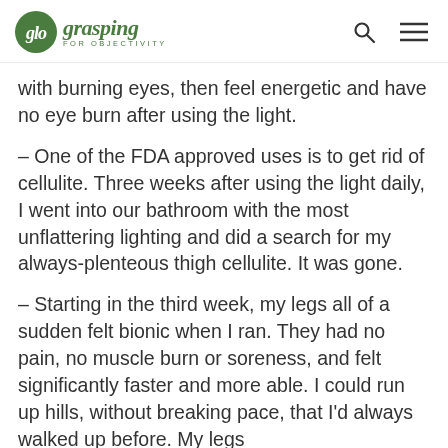glo grasping FOR OBJECTIVITY
with burning eyes, then feel energetic and have no eye burn after using the light.
– One of the FDA approved uses is to get rid of cellulite. Three weeks after using the light daily, I went into our bathroom with the most unflattering lighting and did a search for my always-plenteous thigh cellulite. It was gone.
– Starting in the third week, my legs all of a sudden felt bionic when I ran. They had no pain, no muscle burn or soreness, and felt significantly faster and more able. I could run up hills, without breaking pace, that I'd always walked up before. My legs